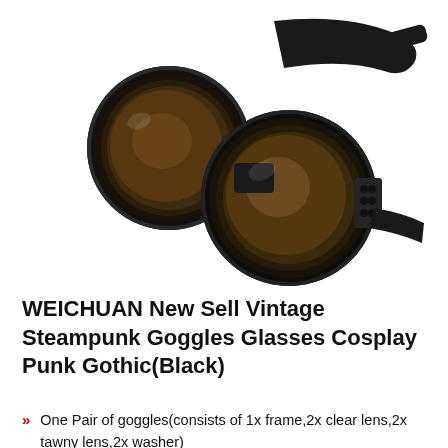[Figure (photo): Product photo of black steampunk goggles with round lenses and black elastic strap, shown at an angle on a white background.]
WEICHUAN New Sell Vintage Steampunk Goggles Glasses Cosplay Punk Gothic(Black)
One Pair of goggles(consists of 1x frame,2x clear lens,2x tawny lens,2x washer)